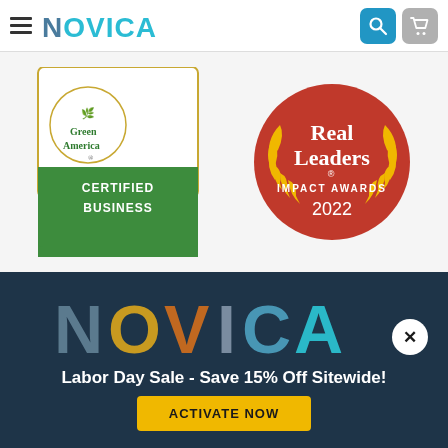NOVICA navigation bar with hamburger menu, NOVICA logo, search button, and cart button
[Figure (logo): Green America Certified Business badge - green shield shape with leaf logo and text 'Green America CERTIFIED BUSINESS']
[Figure (logo): Real Leaders Impact Awards 2022 - red circular badge with gold laurel wreath and white text 'Real Leaders IMPACT AWARDS 2022']
[Figure (logo): NOVICA large colorful logo on dark navy background]
Labor Day Sale - Save 15% Off Sitewide!
ACTIVATE NOW